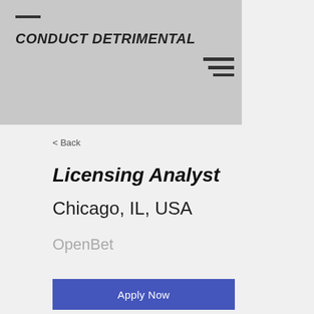CONDUCT DETRIMENTAL
< Back
Licensing Analyst
Chicago, IL, USA
OpenBet
Apply Now